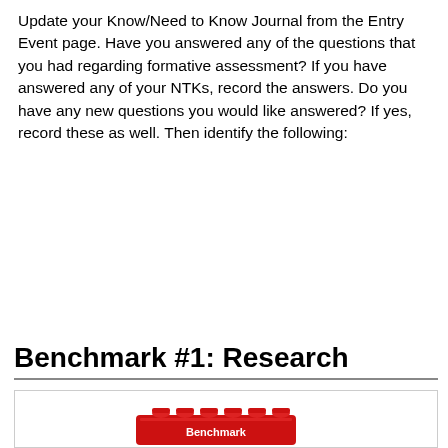Update your Know/Need to Know Journal from the Entry Event page. Have you answered any of the questions that you had regarding formative assessment? If you have answered any of your NTKs, record the answers. Do you have any new questions you would like answered? If yes, record these as well. Then identify the following:
Benchmark #1: Research
[Figure (illustration): Red LEGO brick with 'Benchmark' text label below it, inside a bordered box]